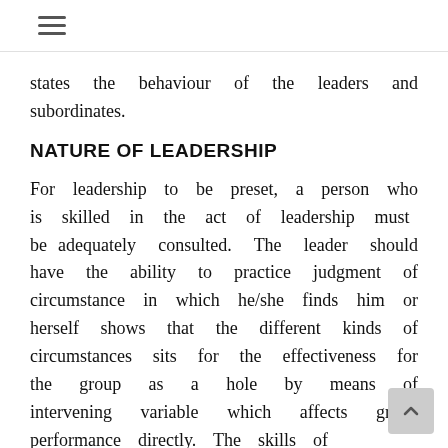≡
states the behaviour of the leaders and subordinates.
NATURE OF LEADERSHIP
For leadership to be preset, a person who is skilled in the act of leadership must be adequately consulted. The leader should have the ability to practice judgment of circumstance in which he/she finds him or herself shows that the different kinds of circumstances sits for the effectiveness for the group as a hole by means of intervening variable which affects group performance directly. The skills of